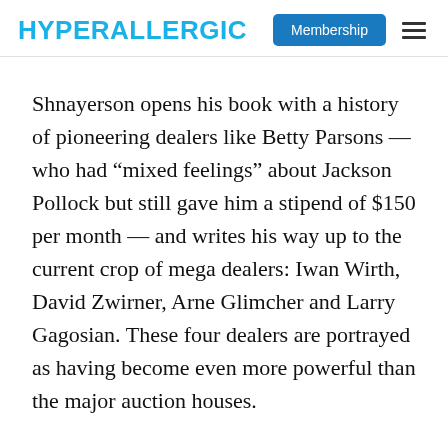HYPERALLERGIC | Membership ☰
Shnayerson opens his book with a history of pioneering dealers like Betty Parsons — who had “mixed feelings” about Jackson Pollock but still gave him a stipend of $150 per month — and writes his way up to the current crop of mega dealers: Iwan Wirth, David Zwirner, Arne Glimcher and Larry Gagosian. These four dealers are portrayed as having become even more powerful than the major auction houses.